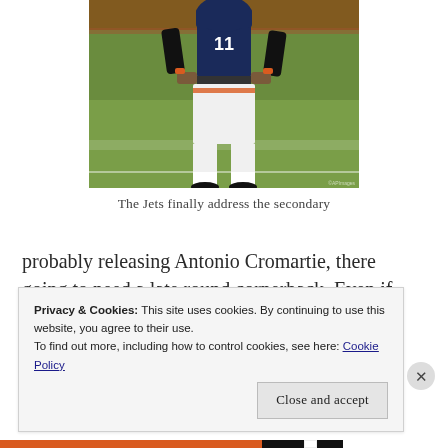[Figure (photo): American football player in dark navy and orange uniform standing on a green field, cropped showing lower body from waist down with white pants and socks]
The Jets finally address the secondary
probably releasing Antonio Cromartie, there going to need a late round cornerback. Even if
Privacy & Cookies: This site uses cookies. By continuing to use this website, you agree to their use.
To find out more, including how to control cookies, see here: Cookie Policy
Close and accept